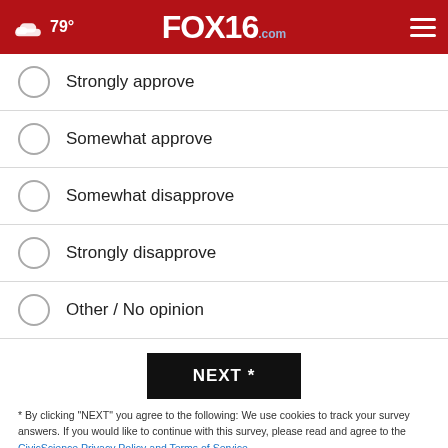79° FOX16.com
Strongly approve
Somewhat approve
Somewhat disapprove
Strongly disapprove
Other / No opinion
NEXT *
* By clicking "NEXT" you agree to the following: We use cookies to track your survey answers. If you would like to continue with this survey, please read and agree to the CivicScience Privacy Policy and Terms of Service
TOP STORIES ›
[Figure (photo): Bottom image strip showing partial photo with light blue background and dark silhouette of a figure/equipment]